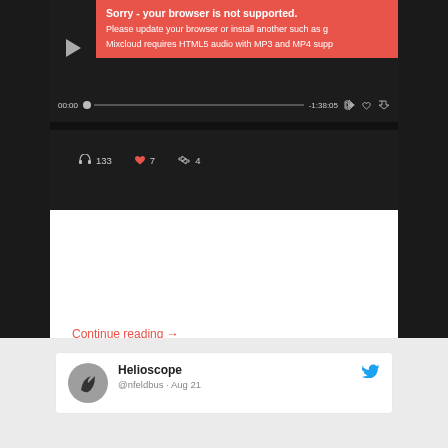[Figure (screenshot): Mixcloud audio player embed screenshot showing error message: Sorry - your browser is not supported. Please update your browser or install another such as g... Mixcloud requires HTML5 audio with MP3 and MP4 supp... Progress bar showing 00:00 to -1:38:05. Stats showing 133 listens, 7 likes, 4 reposts.]
Continue reading →
[Figure (screenshot): Tweet card showing Helioscope account (@nfeldbus · Aug 21) with Twitter bird icon and Helioscope logo avatar.]